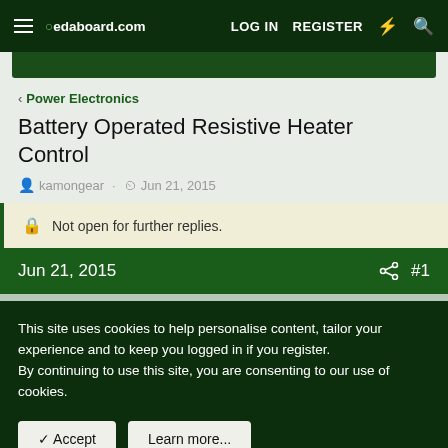edaboard.com  LOG IN  REGISTER
Power Electronics
Battery Operated Resistive Heater Control
kamongear · Jun 21, 2015
Not open for further replies.
Jun 21, 2015  #1
This site uses cookies to help personalise content, tailor your experience and to keep you logged in if you register. By continuing to use this site, you are consenting to our use of cookies.
Accept  Learn more...